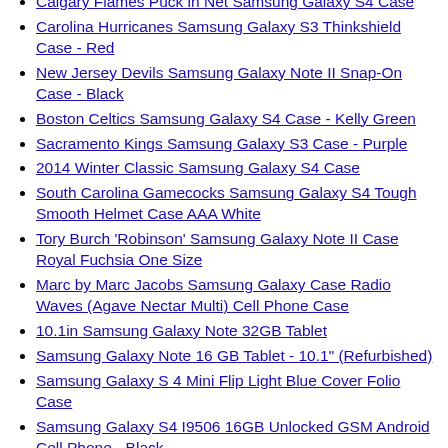Calgary Flames Puck in Net Samsung Galaxy S4 Case
Carolina Hurricanes Samsung Galaxy S3 Thinkshield Case - Red
New Jersey Devils Samsung Galaxy Note II Snap-On Case - Black
Boston Celtics Samsung Galaxy S4 Case - Kelly Green
Sacramento Kings Samsung Galaxy S3 Case - Purple
2014 Winter Classic Samsung Galaxy S4 Case
South Carolina Gamecocks Samsung Galaxy S4 Tough Smooth Helmet Case AAA White
Tory Burch 'Robinson' Samsung Galaxy Note II Case Royal Fuchsia One Size
Marc by Marc Jacobs Samsung Galaxy Case Radio Waves (Agave Nectar Multi) Cell Phone Case
10.1in Samsung Galaxy Note 32GB Tablet
Samsung Galaxy Note 16 GB Tablet - 10.1" (Refurbished)
Samsung Galaxy S 4 Mini Flip Light Blue Cover Folio Case
Samsung Galaxy S4 I9506 16GB Unlocked GSM Android Cell Phone - Black
Houston Rockets Samsung Galaxy Note II Snap-On Case
Chicago Bears Samsung Galaxy S3 Retro Hard Case - Orange
Indiana Pacers Samsung Galaxy Game Ball S3 Case
Philadelphia 76ers Game Ball Samsung Galaxy S4 Case